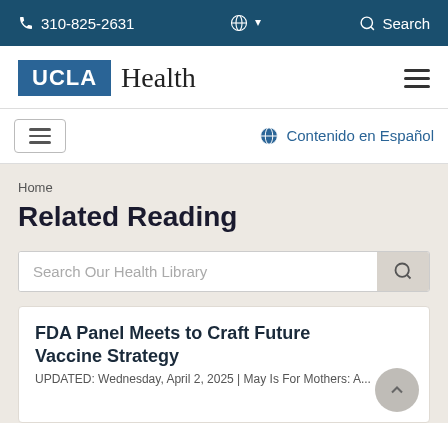310-825-2631  🌐  Search
[Figure (logo): UCLA Health logo with blue UCLA box and serif Health text, hamburger menu icon on right]
Contenido en Español
Home
Related Reading
Search Our Health Library
FDA Panel Meets to Craft Future Vaccine Strategy
UPDATED: Wednesday, April 2, 2025 | May Is For Mothers: A...